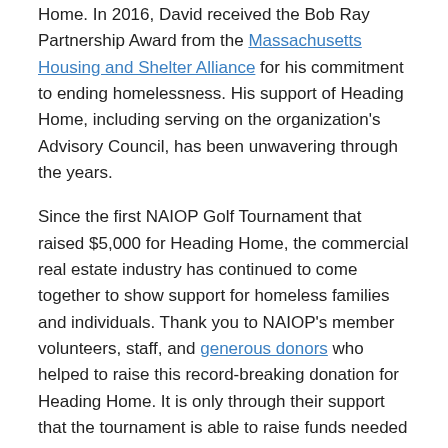Home. In 2016, David received the Bob Ray Partnership Award from the Massachusetts Housing and Shelter Alliance for his commitment to ending homelessness. His support of Heading Home, including serving on the organization's Advisory Council, has been unwavering through the years.
Since the first NAIOP Golf Tournament that raised $5,000 for Heading Home, the commercial real estate industry has continued to come together to show support for homeless families and individuals. Thank you to NAIOP's member volunteers, staff, and generous donors who helped to raise this record-breaking donation for Heading Home. It is only through their support that the tournament is able to raise funds needed to help Heading Home accomplish its goal of ending family homelessness.
View pictures from the event